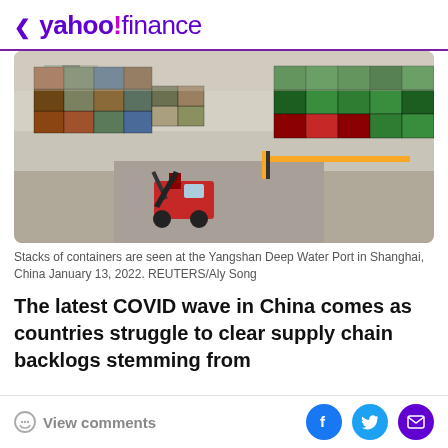< yahoo!finance
[Figure (photo): Stacks of colorful shipping containers at the Yangshan Deep Water Port in Shanghai, China. A red reach stacker vehicle is visible in the foreground on the container yard pavement.]
Stacks of containers are seen at the Yangshan Deep Water Port in Shanghai, China January 13, 2022. REUTERS/Aly Song
The latest COVID wave in China comes as countries struggle to clear supply chain backlogs stemming from
View comments